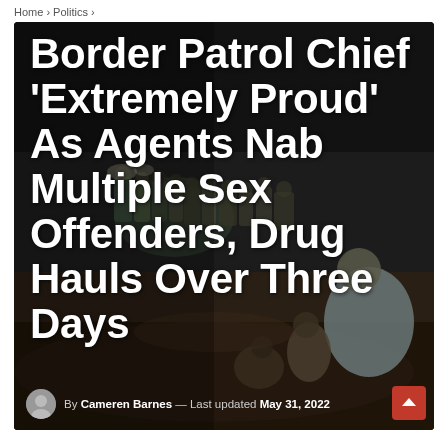Home > Politics >
[Figure (photo): Night-time photo of Border Patrol agents and migrants sitting on dark ground, with officers in background]
Border Patrol Chief 'Extremely Proud' As Agents Nab Multiple Sex Offenders, Drug Hauls Over Three Days
By Cameren Barnes — Last updated May 31, 2022